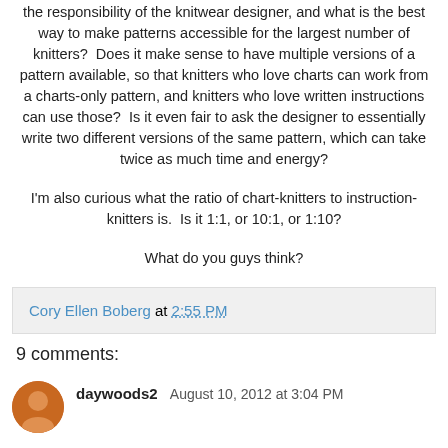the responsibility of the knitwear designer, and what is the best way to make patterns accessible for the largest number of knitters?  Does it make sense to have multiple versions of a pattern available, so that knitters who love charts can work from a charts-only pattern, and knitters who love written instructions can use those?  Is it even fair to ask the designer to essentially write two different versions of the same pattern, which can take twice as much time and energy?
I'm also curious what the ratio of chart-knitters to instruction-knitters is.  Is it 1:1, or 10:1, or 1:10?
What do you guys think?
Cory Ellen Boberg at 2:55 PM
9 comments:
daywoods2  August 10, 2012 at 3:04 PM